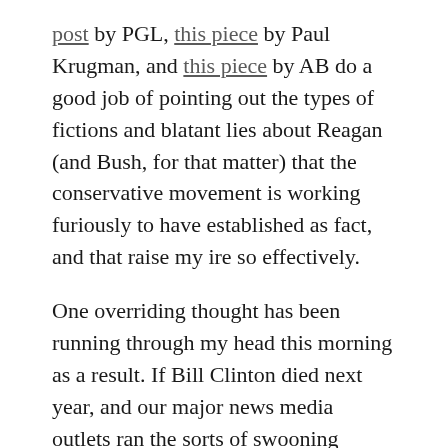post by PGL, this piece by Paul Krugman, and this piece by AB do a good job of pointing out the types of fictions and blatant lies about Reagan (and Bush, for that matter) that the conservative movement is working furiously to have established as fact, and that raise my ire so effectively.
One overriding thought has been running through my head this morning as a result. If Bill Clinton died next year, and our major news media outlets ran the sorts of swooning stories about him that they are currently running about Reagan – despite the fact that Clinton's economy was stronger than Reagan's, and that he was a more popular president than Reagan – can you possibly imagine the right